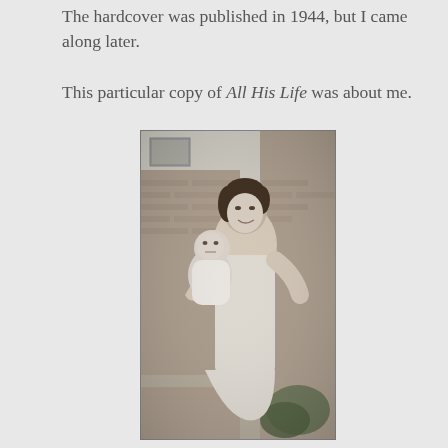The hardcover was published in 1944, but I came along later.
This particular copy of All His Life was about me.
[Figure (photo): Black and white vintage photograph of a smiling woman holding a baby in front of a brick building. The woman is wearing a light-colored sleeveless dress and the baby appears to be several months old.]